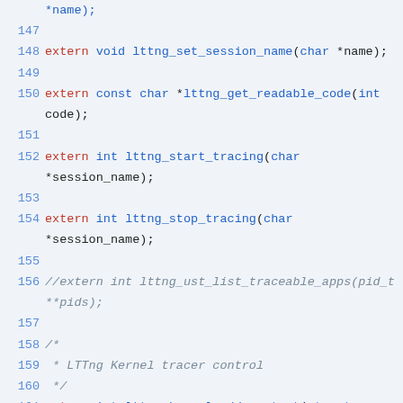[Figure (screenshot): C source code listing showing lines 147-164 of an lttng header file with syntax highlighting. Keywords in red/orange, function names in blue, comments in grey italic, line numbers in blue.]